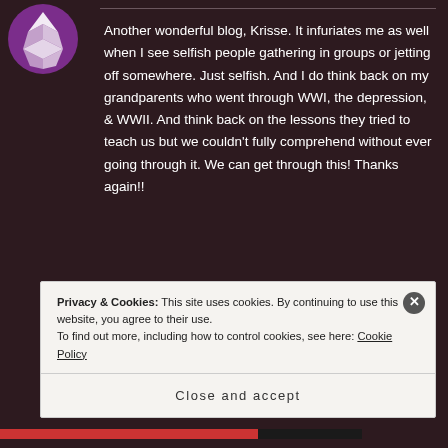[Figure (logo): Purple and white diamond/star shaped avatar icon in top-left corner]
Another wonderful blog, Krisse. It infuriates me as well when I see selfish people gathering in groups or jetting off somewhere. Just selfish. And I do think back on my grandparents who went through WWI, the depression, & WWII. And think back on the lessons they tried to teach us but we couldn't fully comprehend without ever going through it. We can get through this! Thanks again!!
Privacy & Cookies: This site uses cookies. By continuing to use this website, you agree to their use.
To find out more, including how to control cookies, see here: Cookie Policy
Close and accept